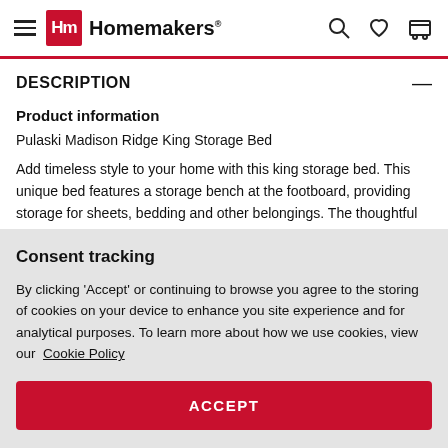Homemakers
DESCRIPTION
Product information
Pulaski Madison Ridge King Storage Bed
Add timeless style to your home with this king storage bed. This unique bed features a storage bench at the footboard, providing storage for sheets, bedding and other belongings. The thoughtful
Consent tracking
By clicking 'Accept' or continuing to browse you agree to the storing of cookies on your device to enhance you site experience and for analytical purposes. To learn more about how we use cookies, view our Cookie Policy
ACCEPT